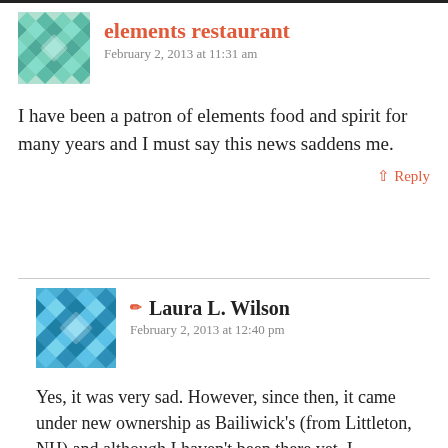[Figure (illustration): Teal/green decorative avatar icon with geometric pattern for elements restaurant]
elements restaurant
February 2, 2013 at 11:31 am
I have been a patron of elements food and spirit for many years and I must say this news saddens me.
↑ Reply
[Figure (illustration): Blue decorative avatar icon with geometric pattern for Laura L. Wilson]
✏ Laura L. Wilson
February 2, 2013 at 12:40 pm
Yes, it was very sad. However, since then, it came under new ownership as Bailiwick's (from Littleton, NH) and although I haven't been there yet, I understand it's pretty good!
↑ Reply